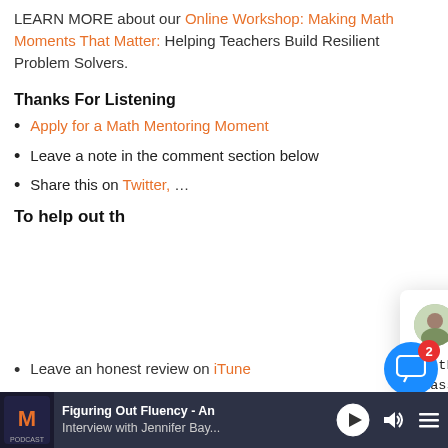LEARN MORE about our Online Workshop: Making Math Moments That Matter: Helping Teachers Build Resilient Problem Solvers.
Thanks For Listening
Apply for a Math Mentoring Moment
Leave a note in the comment section below
Share this on Twitter, …
To help out th…
[Figure (screenshot): Chat popup from Kyle from Make Math Mome... saying: Hi there, Do you have a math class "Pebble In Your Shoe" you...]
Leave an honest review on iTunes
[Figure (screenshot): Bottom audio player bar showing: Figuring Out Fluency - An Interview with Jennifer Bay... with play, volume, and playlist controls. Chat icon with badge 2.]